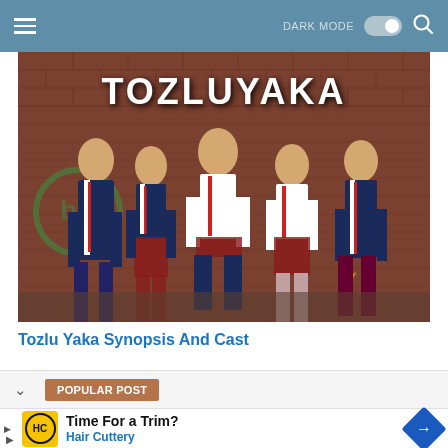DARK MODE [toggle] [search]
[Figure (photo): Promotional photo for the Turkish TV show 'Tozluyaka' featuring five young actors in school uniforms (navy blazers, white shirts, red ties, plaid skirts for girls) standing in front of a graffiti brick wall with the show's name 'TOZLUYAKA' written in large white letters above them.]
Tozlu Yaka Synopsis And Cast
POPULAR POST
Time For a Trim? Hair Cuttery